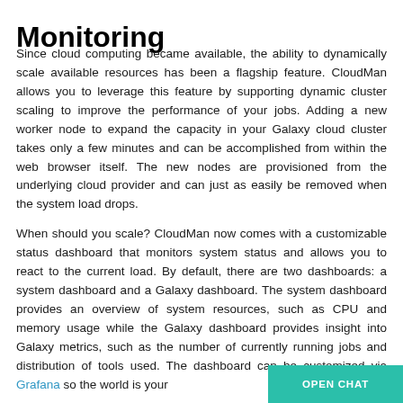Monitoring
Since cloud computing became available, the ability to dynamically scale available resources has been a flagship feature. CloudMan allows you to leverage this feature by supporting dynamic cluster scaling to improve the performance of your jobs. Adding a new worker node to expand the capacity in your Galaxy cloud cluster takes only a few minutes and can be accomplished from within the web browser itself. The new nodes are provisioned from the underlying cloud provider and can just as easily be removed when the system load drops.
When should you scale? CloudMan now comes with a customizable status dashboard that monitors system status and allows you to react to the current load. By default, there are two dashboards: a system dashboard and a Galaxy dashboard. The system dashboard provides an overview of system resources, such as CPU and memory usage while the Galaxy dashboard provides insight into Galaxy metrics, such as the number of currently running jobs and distribution of tools used. The dash[board can be] customized via Grafana so the world is your [oyster]